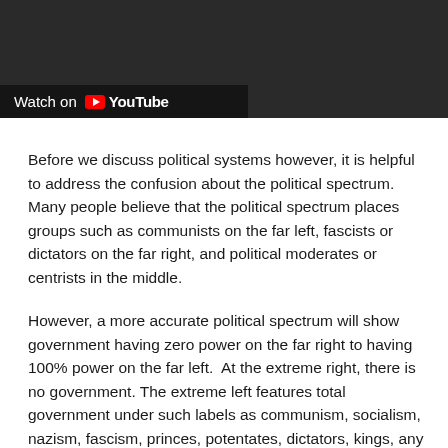[Figure (screenshot): YouTube video embed thumbnail showing a dark/grainy image with a 'Watch on YouTube' button overlay in the bottom left corner]
Before we discuss political systems however, it is helpful to address the confusion about the political spectrum. Many people believe that the political spectrum places groups such as communists on the far left, fascists or dictators on the far right, and political moderates or centrists in the middle.
However, a more accurate political spectrum will show government having zero power on the far right to having 100% power on the far left.  At the extreme right, there is no government. The extreme left features total government under such labels as communism, socialism, nazism, fascism, princes, potentates, dictators, kings, any form of total government.
Those who claim that nazis and fascist are right wing never define their terms. This amounts to spreading confusion. The type of